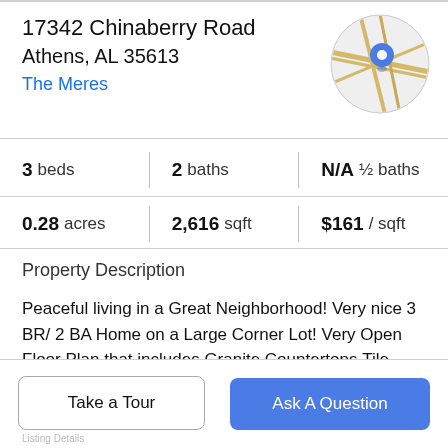17342 Chinaberry Road
Athens, AL 35613
The Meres
[Figure (map): Circular map thumbnail with road lines and a blue location pin marker]
|  |  |  |
| --- | --- | --- |
| 3 beds | 2 baths | N/A ½ baths |
| 0.28 acres | 2,616 sqft | $161 / sqft |
Property Description
Peaceful living in a Great Neighborhood! Very nice 3 BR/ 2 BA Home on a Large Corner Lot! Very Open Floor Plan that includes Granite Countertops,Tile Backsplash, Stainless Appliances and a Large Bar in the Kitchen! Master Bath has a Whirlpool and Tile Shower! Other
Take a Tour
Ask A Question